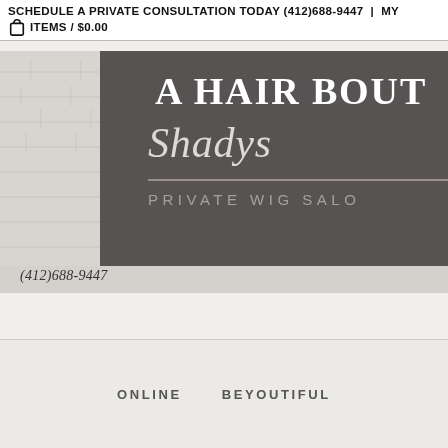SCHEDULE A PRIVATE CONSULTATION TODAY (412)688-9447  |  MY ITEMS / $0.00
[Figure (illustration): Hair boutique banner image showing a stone brick wall background on the left with a dark charcoal grey panel on the right displaying the text 'A HAIR BOUT' in large serif font, 'Shadys' in large italic script font, a horizontal divider line, and 'PRIVATE WIG SALO' in spaced grey letters. A phone number (412)688-9447 appears below the dark panel on the stone background.]
(412)688-9447
ONLINE    BEYOUTIFUL